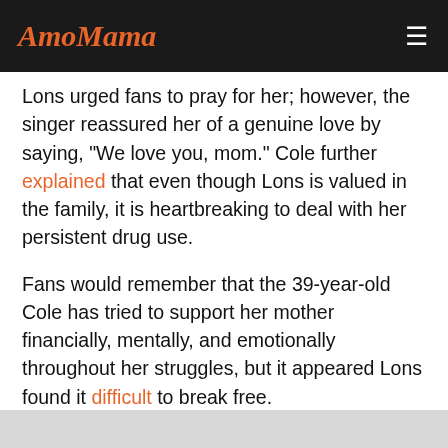AmoMama
Lons urged fans to pray for her; however, the singer reassured her of a genuine love by saying, "We love you, mom." Cole further explained that even though Lons is valued in the family, it is heartbreaking to deal with her persistent drug use.
Fans would remember that the 39-year-old Cole has tried to support her mother financially, mentally, and emotionally throughout her struggles, but it appeared Lons found it difficult to break free.
A few years ago, the "Heaven Sent" crooner confessed that she was tired and scared to lose her mother to unhealthy, life-draining habits. There was a conversation about death, between the two, but Lons saw nothing